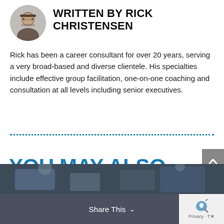WRITTEN BY RICK CHRISTENSEN
Rick has been a career consultant for over 20 years, serving a very broad-based and diverse clientele. His specialties include effective group facilitation, one-on-one coaching and consultation at all levels including senior executives.
YOU MAY ALSO LIKE...
[Figure (photo): Dark background photo showing hands with tablets/devices, at the bottom of the page]
Share This